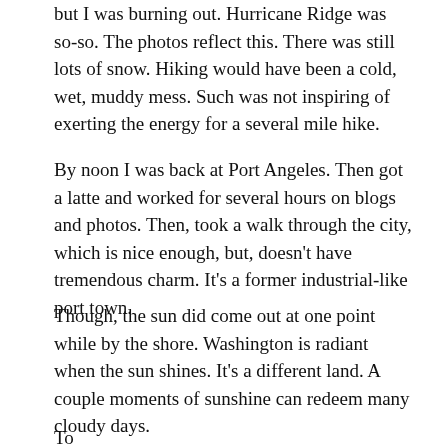but I was burning out. Hurricane Ridge was so-so. The photos reflect this. There was still lots of snow. Hiking would have been a cold, wet, muddy mess. Such was not inspiring of exerting the energy for a several mile hike.
By noon I was back at Port Angeles. Then got a latte and worked for several hours on blogs and photos. Then, took a walk through the city, which is nice enough, but, doesn't have tremendous charm. It's a former industrial-like port town.
Though, the sun did come out at one point while by the shore. Washington is radiant when the sun shines. It's a different land. A couple moments of sunshine can redeem many cloudy days.
To spend a half hour or so all in one can only In the